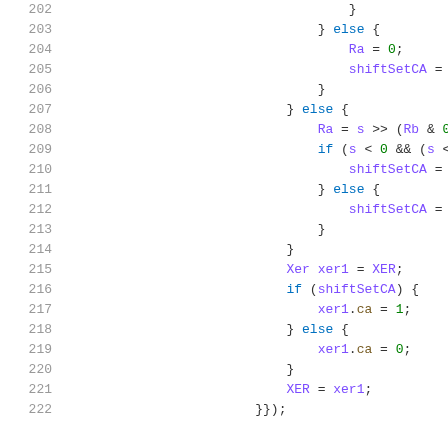202-222 source code lines showing bitshift and XER register logic in a hardware emulator or similar system (Java/C++ style)